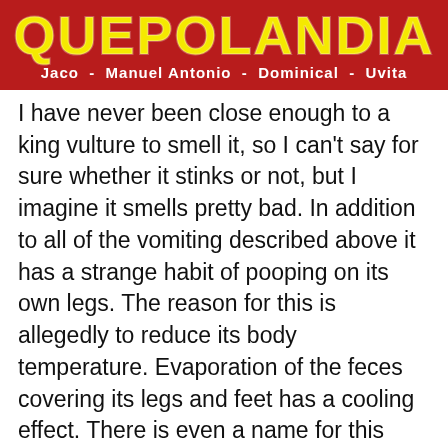[Figure (logo): Quepolandia logo banner with yellow stylized text on dark red background, subtitle: Jaco - Manuel Antonio - Dominical - Uvita]
I have never been close enough to a king vulture to smell it, so I can't say for sure whether it stinks or not, but I imagine it smells pretty bad. In addition to all of the vomiting described above it has a strange habit of pooping on its own legs. The reason for this is allegedly to reduce its body temperature. Evaporation of the feces covering its legs and feet has a cooling effect. There is even a name for this behavior, “urohidrosis”. It sounds a little far out to me, but biologists seem to be in agreement about it.
Hacienda Barù guide Juan Ramón, told